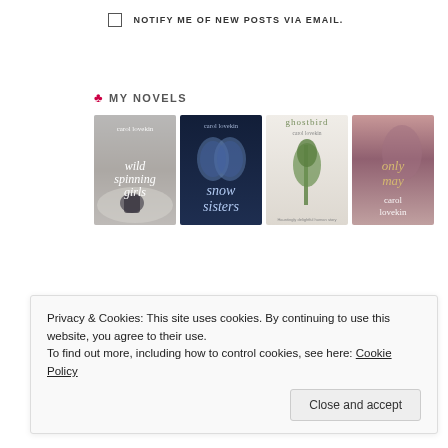NOTIFY ME OF NEW POSTS VIA EMAIL.
MY NOVELS
[Figure (illustration): Four book covers by Carol Lovekin displayed in a row: 'Wild Spinning Girls', 'Snow Sisters', 'Ghostbird', and 'Only May']
Privacy & Cookies: This site uses cookies. By continuing to use this website, you agree to their use. To find out more, including how to control cookies, see here: Cookie Policy
Close and accept